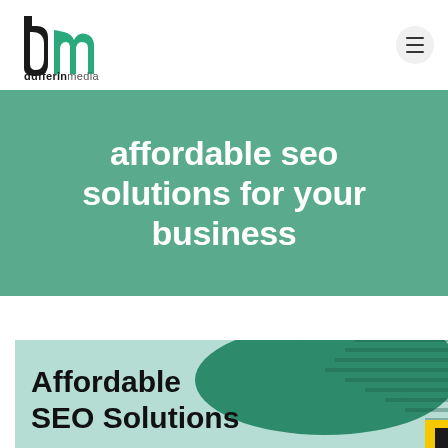[Figure (logo): dufferinmedia logo: black and teal 'dm' lettermark with 'dufferinmedia' text below]
affordable seo solutions for your business
[Figure (illustration): Promotional graphic with light teal background, dark teal blob shape, diagonal line pattern on right, and bold text 'Affordable SEO Solutions' in black]